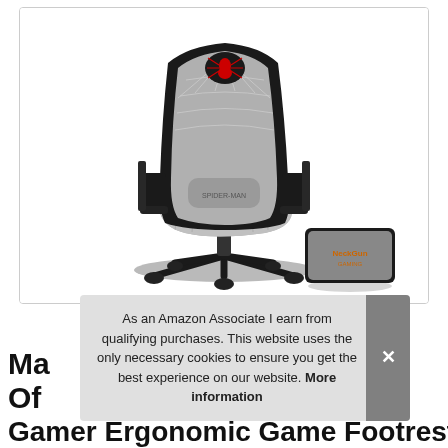[Figure (photo): A black and gray gaming chair with a Spider-Man theme, featuring a red spider logo on the headrest, spider web stitching on the backrest, adjustable armrests, and a separate footrest/ottoman. The chair is on a wheeled base.]
As an Amazon Associate I earn from qualifying purchases. This website uses the only necessary cookies to ensure you get the best experience on our website. More information
Ma... Of... Gamer Ergonomic Game Footrest